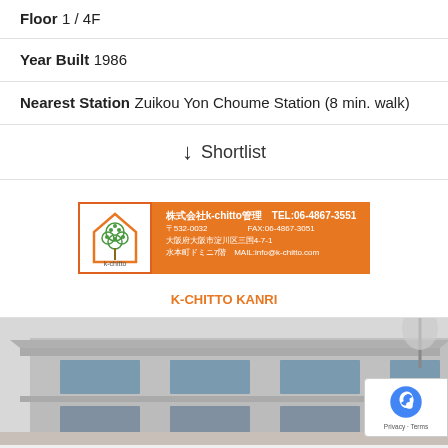Floor 1 / 4F
Year Built 1986
Nearest Station Zuikou Yon Choume Station (8 min. walk)
↓ Shortlist
[Figure (logo): K-chitto Kanri real estate agency logo and contact card. Orange background with Japanese text, TEL:06-4867-3551, FAX:06-4867-3051, MAILinfo@k-chitto.com]
K-CHITTO KANRI
[Figure (photo): Exterior photo of a multi-story building, grey tones, appears to be 2-3 floors with tiled facade and windows]